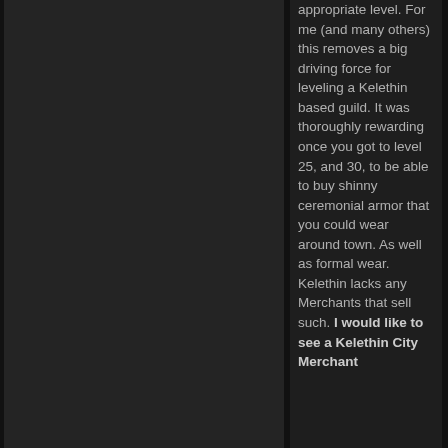appropriate level. For me (and many others) this removes a big driving force for leveling a Kelethin based guild. It was thoroughly rewarding once you got to level 25, and 30, to be able to buy shinny ceremonial armor that you could wear around town. As well as formal wear. Kelethin lacks any Merchants that sell such. I would like to see a Kelethin City Merchant